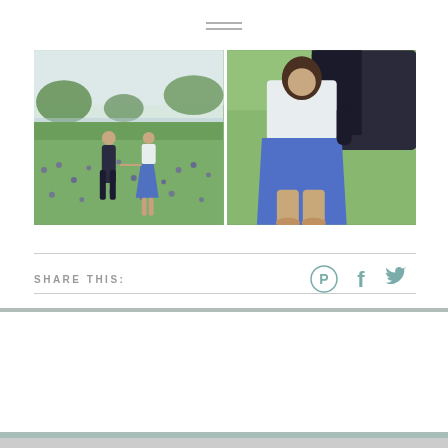[Figure (other): Hamburger menu icon — three horizontal lines centered at top of page]
[Figure (photo): Left photo: couple holding hands walking through a field of blue wildflowers (bluebonnets), man in dark suit, woman in blue skirt and white top, trees and water in background]
[Figure (photo): Right photo: close-up of couple embracing in green field, woman in blue skirt, man in dark jacket, cropped at waist/chest level]
SHARE THIS:
[Figure (other): Pinterest icon (P in circle), Facebook icon (f), Twitter bird icon — social share buttons in muted teal/blue color]